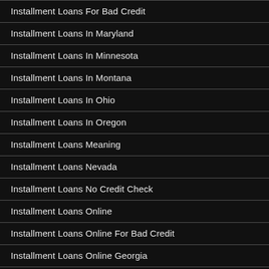Installment Loans For Bad Credit
Installment Loans In Maryland
Installment Loans In Minnesota
Installment Loans In Montana
Installment Loans In Ohio
Installment Loans In Oregon
Installment Loans Meaning
Installment Loans Nevada
Installment Loans No Credit Check
Installment Loans Online
Installment Loans Online For Bad Credit
Installment Loans Online Georgia